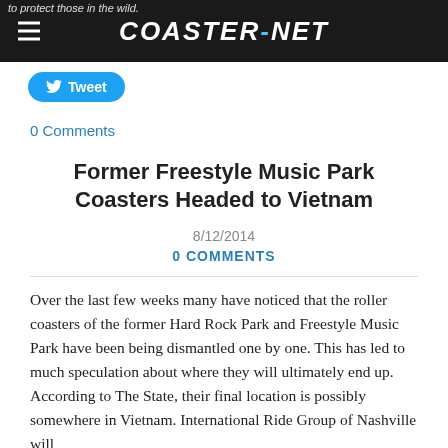COASTER-NET
to protect those in the wild.
Tweet
0 Comments
Former Freestyle Music Park Coasters Headed to Vietnam
8/12/2014
0 COMMENTS
Over the last few weeks many have noticed that the roller coasters of the former Hard Rock Park and Freestyle Music Park have been being dismantled one by one. This has led to much speculation about where they will ultimately end up. According to The State, their final location is possibly somewhere in Vietnam. International Ride Group of Nashville will